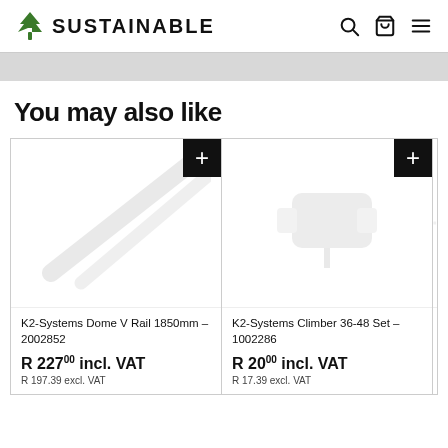SUSTAINABLE
You may also like
K2-Systems Dome V Rail 1850mm - 2002852
R 227.00 incl. VAT
R 197.39 excl. VAT
K2-Systems Climber 36-48 Set - 1002286
R 20.00 incl. VAT
R 17.39 excl. VAT
K2-Systems Cable Management...
R 5.00 incl. VAT
R 4.35 excl. VAT